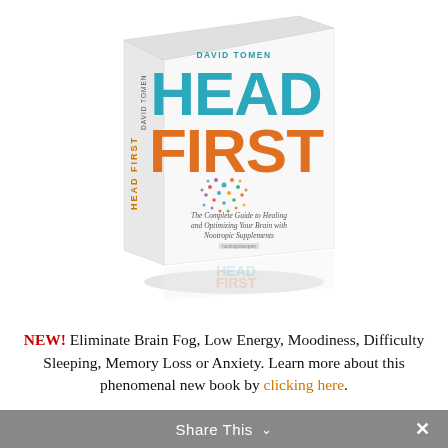[Figure (illustration): 3D book cover of 'Head First' by David Tomen. The cover shows the title 'HEAD' in teal/blue and 'FIRST' in orange large text, with a colorful dot-pattern brain graphic, subtitle 'The Complete Guide to Healing and Optimizing Your Brain with Nootropic Supplements', on a white background. The book spine reads 'HEAD FIRST DAVID TOMEN'. A faint reflection appears below the book.]
NEW! Eliminate Brain Fog, Low Energy, Moodiness, Difficulty Sleeping, Memory Loss or Anxiety. Learn more about this phenomenal new book by clicking here.
Share This ∨  ✕